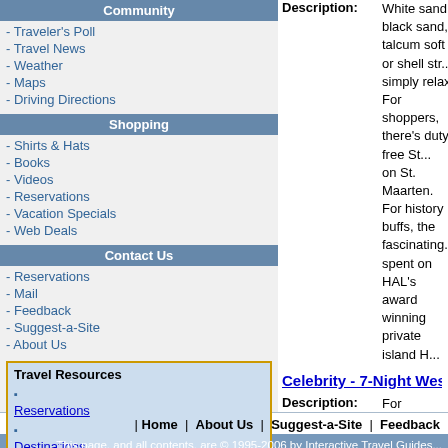Community
- Traveler's Poll
- Travel News
- Weather
- Maps
- Driving Directions
Shopping
- Shirts & Hats
- Books
- Videos
- Reservations
- Vacation Specials
- Web Deals
Contact Us
- Reservations
- Mail
- Feedback
- Suggest-a-Site
- About Us
Travel Resources: Reservations, Destinations, Hotels, Air Travel, Cruise Travel, News/Weather
Description: White sand, black sand, talcum soft or shell str... simply relax. For shoppers, there's duty-free St... on St. Maarten. For history buffs, the fascinating... spent on HAL's award winning private island H...
Celebrity - 7-Night Western Mediterranean  from $549 per p
Description: For centuries people have traveled to Europe to... do so is by cruise ship. Think of it - you pack a... train stations. Instead, you arrive at romantic po...
More Vacation a
| Home | About Us | Suggest-a-Site | Feedback
This page, and all contents, are © 1995-2006 by Interactive Travel Guides. TravelPage.com is a trademark of Interactive T. Powered by TravelServer Soft